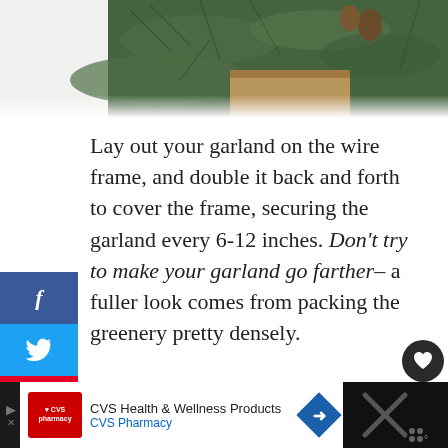[Figure (photo): Partial photo of evergreen pine/spruce garland with pine cones in a wooden box, white background]
Lay out your garland on the wire frame, and double it back and forth to cover the frame, securing the garland every 6-12 inches. Don’t try to make your garland go farther– a fuller look comes from packing the greenery pretty densely.
[Figure (infographic): Social share sidebar with Facebook (f), Twitter (bird), Pinterest (P) buttons]
[Figure (infographic): What's Next panel with heart save (129K) and share buttons, thumbnail image and text 'How to Make a Wreath from...']
[Figure (infographic): CVS Health & Wellness Products / CVS Pharmacy advertisement banner at bottom]